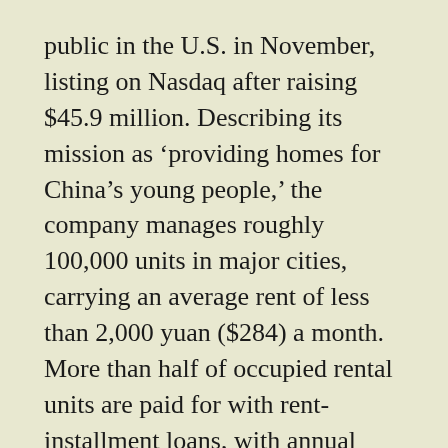public in the U.S. in November, listing on Nasdaq after raising $45.9 million. Describing its mission as 'providing homes for China's young people,' the company manages roughly 100,000 units in major cities, carrying an average rent of less than 2,000 yuan ($284) a month. More than half of occupied rental units are paid for with rent-installment loans, with annual interest rates—which the company pays—of 4.75% to 8.5%.”
“It doesn’t add up to profit: For the nine months to June 30 Q&K reported a net loss of 373.2 million yuan ($53 million), on 897.9